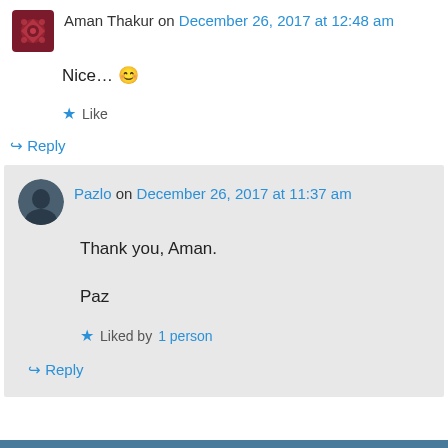Aman Thakur on December 26, 2017 at 12:48 am
Nice… 😊
★ Like
↪ Reply
Pazlo on December 26, 2017 at 11:37 am
Thank you, Aman.
Paz
★ Liked by 1 person
↪ Reply